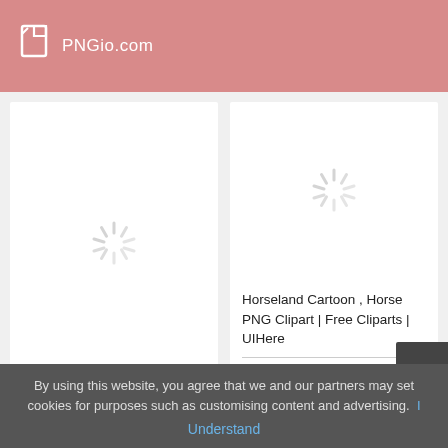PNGio.com
[Figure (screenshot): Loading spinner placeholder for an image on left card]
[Figure (screenshot): Loading spinner placeholder for an image on right card]
Horseland Cartoon , Horse PNG Clipart | Free Cliparts | UIHere
3672 views, 906 downloads
By using this website, you agree that we and our partners may set cookies for purposes such as customising content and advertising.
Understand